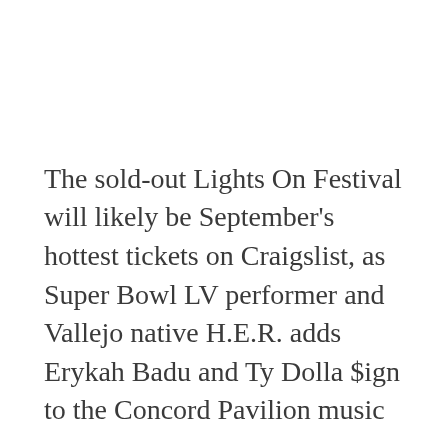The sold-out Lights On Festival will likely be September's hottest tickets on Craigslist, as Super Bowl LV performer and Vallejo native H.E.R. adds Erykah Badu and Ty Dolla $ign to the Concord Pavilion music